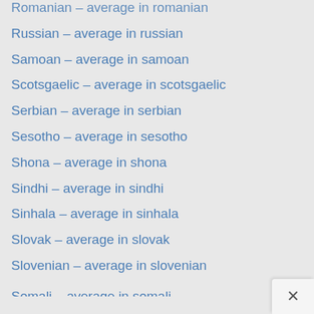Romanian – average in romanian
Russian – average in russian
Samoan – average in samoan
Scotsgaelic – average in scotsgaelic
Serbian – average in serbian
Sesotho – average in sesotho
Shona – average in shona
Sindhi – average in sindhi
Sinhala – average in sinhala
Slovak – average in slovak
Slovenian – average in slovenian
Somali – average in somali